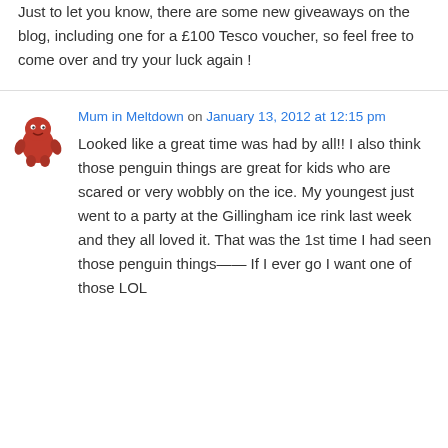Just to let you know, there are some new giveaways on the blog, including one for a £100 Tesco voucher, so feel free to come over and try your luck again !
Mum in Meltdown on January 13, 2012 at 12:15 pm
[Figure (illustration): Small cartoon avatar of a red blob/creature character]
Looked like a great time was had by all!! I also think those penguin things are great for kids who are scared or very wobbly on the ice. My youngest just went to a party at the Gillingham ice rink last week and they all loved it. That was the 1st time I had seen those penguin things—— If I ever go I want one of those LOL